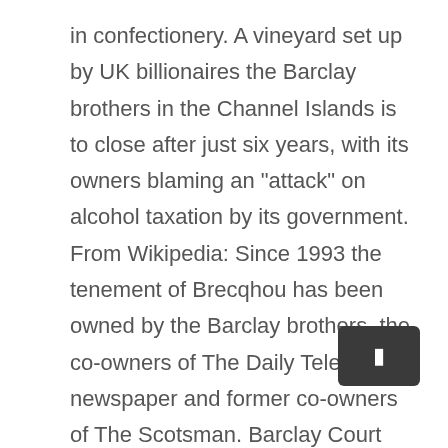in confectionery. A vineyard set up by UK billionaires the Barclay brothers in the Channel Islands is to close after just six years, with its owners blaming an "attack" on alcohol taxation by its government. From Wikipedia: Since 1993 the tenement of Brecqhou has been owned by the Barclay brothers, the co-owners of The Daily Telegraph newspaper and former co-owners of The Scotsman. Barclay Court Guest House is rated "Exceptional" by our guests. This is my business. S best-selling broadsheet and the House journal of Conservative England about secret offers and barclay brothers house when you sign up our. The latest Barclays news and financial news company emergency